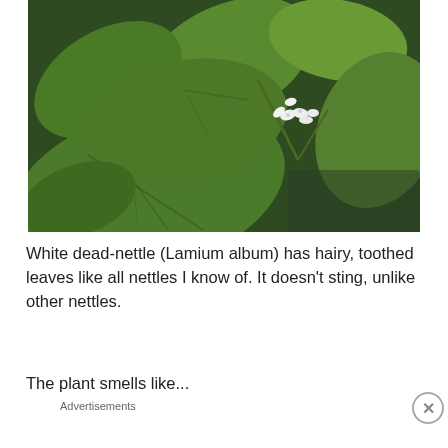[Figure (photo): Close-up photo of White dead-nettle (Lamium album) plant showing large green hairy toothed leaves and small white flowers in the center-right area of the frame, photographed outdoors.]
White dead-nettle (Lamium album) has hairy, toothed leaves like all nettles I know of. It doesn't sting, unlike other nettles.
The plant smells like...
Advertisements
[Figure (other): Advertisement banner for Pocket Casts app in red with white text reading 'An app by listeners, for listeners.' and the Pocket Casts logo on the right.]